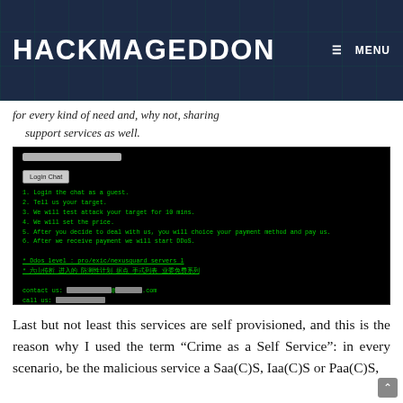HACKMAGEDDON    ≡ MENU
for every kind of need and, why not, sharing support services as well.
[Figure (screenshot): Screenshot of a DDoS-for-hire service chat interface on a black background with green text, showing login instructions, contact info (redacted), and Chinese text links.]
Last but not least this services are self provisioned, and this is the reason why I used the term “Crime as a Self Service”: in every scenario, be the malicious service a Saa(C)S, Iaa(C)S or Paa(C)S,